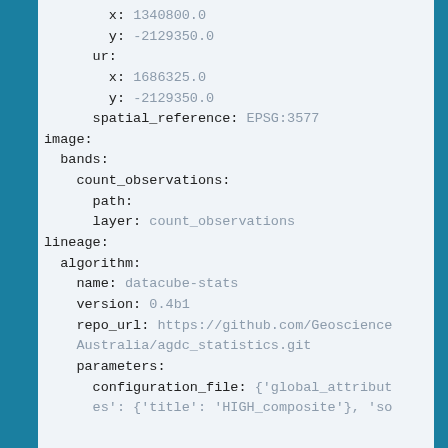x: 1340800.0
    y: -2129350.0
  ur:
    x: 1686325.0
    y: -2129350.0
  spatial_reference: EPSG:3577
image:
  bands:
    count_observations:
      path:
      layer: count_observations
lineage:
  algorithm:
    name: datacube-stats
    version: 0.4b1
    repo_url: https://github.com/Geoscience Australia/agdc_statistics.git
    parameters:
      configuration_file: {'global_attributes: {'title': 'HIGH_composite'}, 'so